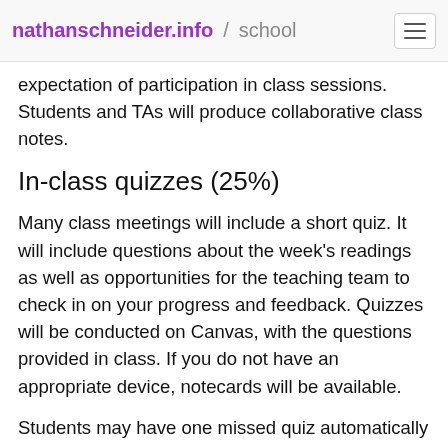nathanschneider.info / school
expectation of participation in class sessions. Students and TAs will produce collaborative class notes.
In-class quizzes (25%)
Many class meetings will include a short quiz. It will include questions about the week's readings as well as opportunities for the teaching team to check in on your progress and feedback. Quizzes will be conducted on Canvas, with the questions provided in class. If you do not have an appropriate device, notecards will be available.
Students may have one missed quiz automatically voided during the semester. If you need to miss class due to illness, religious observance, or emergency, please inform your TA ahead of time.